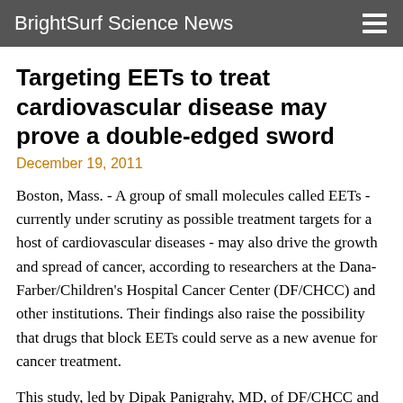BrightSurf Science News
Targeting EETs to treat cardiovascular disease may prove a double-edged sword
December 19, 2011
Boston, Mass. - A group of small molecules called EETs - currently under scrutiny as possible treatment targets for a host of cardiovascular diseases - may also drive the growth and spread of cancer, according to researchers at the Dana-Farber/Children's Hospital Cancer Center (DF/CHCC) and other institutions. Their findings also raise the possibility that drugs that block EETs could serve as a new avenue for cancer treatment.
This study, led by Dipak Panigrahy, MD, of DF/CHCC and the Vascular Biology Program at Children's Hospital Boston, appeared online December 19 in the Journal of Clinical